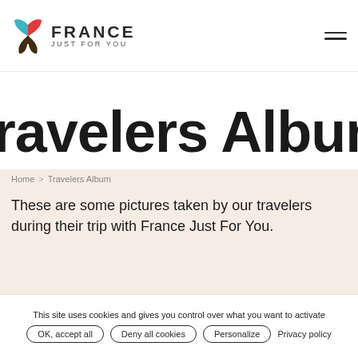[Figure (logo): France Just For You logo with colorful leaf/tulip icon and text FRANCE JUST FOR YOU]
Travelers Album
Home > Travelers Album
These are some pictures taken by our travelers during their trip with France Just For You.
This site uses cookies and gives you control over what you want to activate
OK, accept all  Deny all cookies  Personalize  Privacy policy